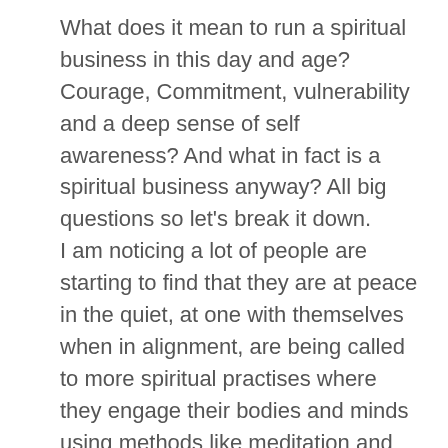What does it mean to run a spiritual business in this day and age? Courage, Commitment, vulnerability and a deep sense of self awareness? And what in fact is a spiritual business anyway? All big questions so let's break it down.
I am noticing a lot of people are starting to find that they are at peace in the quiet, at one with themselves when in alignment, are being called to more spiritual practises where they engage their bodies and minds using methods like meditation and yoga and this helps them to settle in the rush of their days. What I see happen alongside this is the fact that those people begin to get curious and start to awaken to needing more out of life. Yet they cannot find that next thing, and asking for